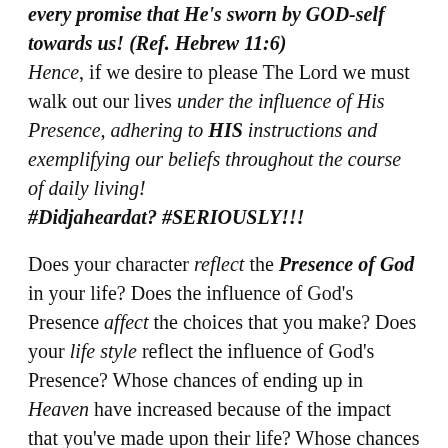every promise that He's sworn by GOD-self towards us! (Ref. Hebrew 11:6) Hence, if we desire to please The Lord we must walk out our lives under the influence of His Presence, adhering to HIS instructions and exemplifying our beliefs throughout the course of daily living! #Didjaheardat? #SERIOUSLY!!!
Does your character reflect the Presence of God in your life? Does the influence of God's Presence affect the choices that you make? Does your life style reflect the influence of God's Presence? Whose chances of ending up in Heaven have increased because of the impact that you've made upon their life? Whose chances of ending up in Hell increased because you are in their life? Now, since our response and our